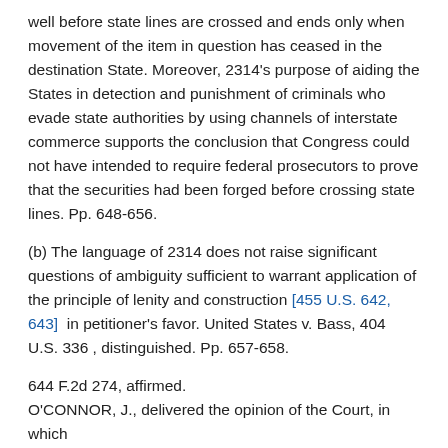well before state lines are crossed and ends only when movement of the item in question has ceased in the destination State. Moreover, 2314's purpose of aiding the States in detection and punishment of criminals who evade state authorities by using channels of interstate commerce supports the conclusion that Congress could not have intended to require federal prosecutors to prove that the securities had been forged before crossing state lines. Pp. 648-656.
(b) The language of 2314 does not raise significant questions of ambiguity sufficient to warrant application of the principle of lenity and construction [455 U.S. 642, 643] in petitioner's favor. United States v. Bass, 404 U.S. 336 , distinguished. Pp. 657-658.
644 F.2d 274, affirmed.
O'CONNOR, J., delivered the opinion of the Court, in which BURGER, C. J., and BRENNAN, WHITE, MARSHALL,